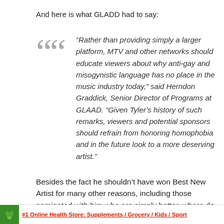And here is what GLADD had to say:
“Rather than providing simply a larger platform, MTV and other networks should educate viewers about why anti-gay and misogynistic language has no place in the music industry today,” said Herndon Graddick, Senior Director of Programs at GLAAD. “Given Tyler’s history of such remarks, viewers and potential sponsors should refrain from honoring homophobia and in the future look to a more deserving artist.”
Besides the fact he shouldn’t have won Best New Artist for many other reasons, including those nominated with him who are simply better, where do you stand?
#1 Online Health Store: Supplements / Grocery / Kids / Sport